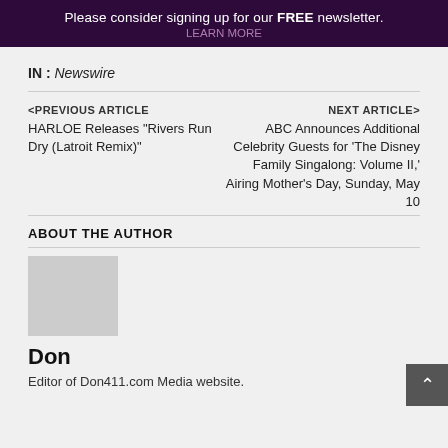Please consider signing up for our FREE newsletter.
LEARN MORE
IN : Newswire
<PREVIOUS ARTICLE
HARLOE Releases "Rivers Run Dry (Latroit Remix)"
NEXT ARTICLE>
ABC Announces Additional Celebrity Guests for 'The Disney Family Singalong: Volume II,' Airing Mother's Day, Sunday, May 10
ABOUT THE AUTHOR
Don
Editor of Don411.com Media website.